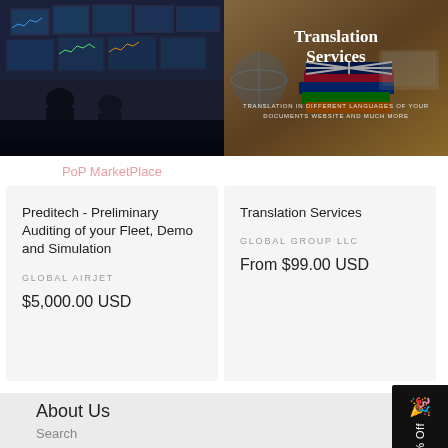[Figure (photo): Trading floor with multiple monitors showing financial data, dark room with traders]
[Figure (photo): Translation Services banner with colorful language books/dictionaries and text overlay reading 'Translation Services' and 'Translation in different languages of your documents website and much more']
PoP MarketPlace
Preditech - Preliminary Auditing of your Fleet, Demo and Simulation
GLOBAL AIRJET
$5,000.00 USD
Translation Services
GLOBAL GROUP LLC
From $99.00 USD
About Us
Search
Get 10% Off